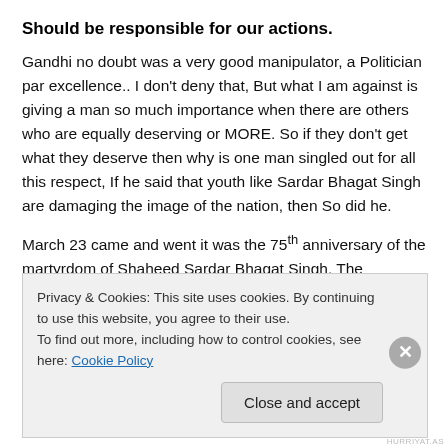Should be responsible for our actions.
Gandhi no doubt was a very good manipulator, a Politician par excellence.. I don’t deny that, But what I am against is giving a man so much importance when there are others who are equally deserving or MORE. So if they don’t get what they deserve then why is one man singled out for all this respect, If he said that youth like Sardar Bhagat Singh are damaging the image of the nation, then So did he.
March 23 came and went it was the 75th anniversary of the martyrdom of Shaheed Sardar Bhagat Singh, The
Privacy & Cookies: This site uses cookies. By continuing to use this website, you agree to their use.
To find out more, including how to control cookies, see here: Cookie Policy
Close and accept